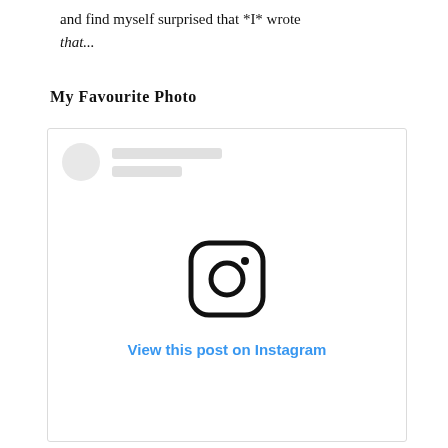and find myself surprised that *I* wrote that...
My Favourite Photo
[Figure (screenshot): An embedded Instagram post placeholder showing a grey avatar circle, two grey placeholder lines for username, the Instagram logo icon in the center, and a 'View this post on Instagram' link in blue.]